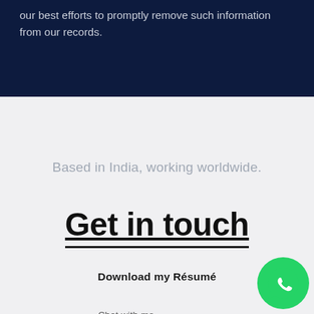our best efforts to promptly remove such information from our records.
Based in India, working worldwide.
Get in touch
Download my Résumé
Chat with me
[Figure (logo): WhatsApp green circular icon with chat bubble logo in bottom-right corner]